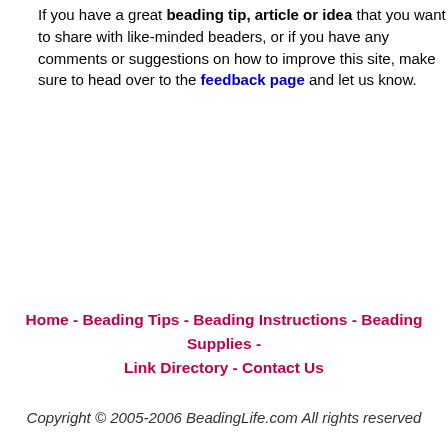If you have a great beading tip, article or idea that you want to share with like-minded beaders, or if you have any comments or suggestions on how to improve this site, make sure to head over to the feedback page and let us know.
Home - Beading Tips - Beading Instructions - Beading Supplies - Link Directory - Contact Us
Copyright © 2005-2006 BeadingLife.com All rights reserved